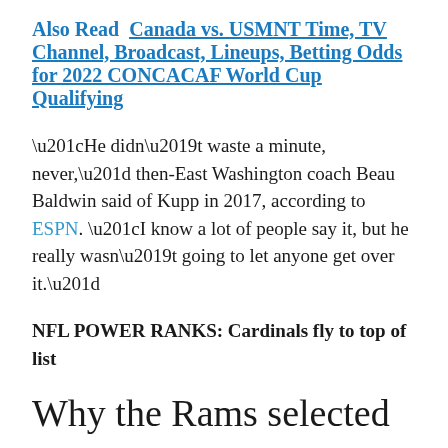Also Read  Canada vs. USMNT Time, TV Channel, Broadcast, Lineups, Betting Odds for 2022 CONCACAF World Cup Qualifying
“He didn’t waste a minute, never,” then-East Washington coach Beau Baldwin said of Kupp in 2017, according to ESPN. “I know a lot of people say it, but he really wasn’t going to let anyone get over it.”
NFL POWER RANKS: Cardinals fly to top of list
Why the Rams selected